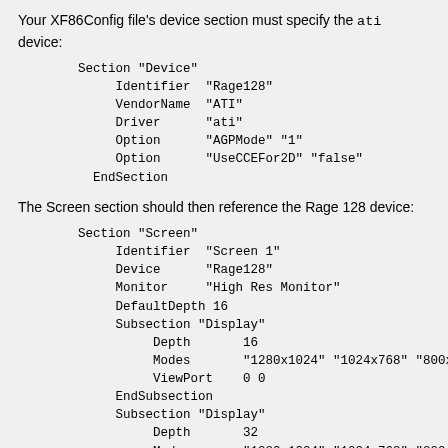Your XF86Config file's device section must specify the ati device:
Section "Device"
    Identifier  "Rage128"
    VendorName  "ATI"
    Driver      "ati"
    Option      "AGPMode" "1"
    Option      "UseCCEFor2D" "false"
EndSection
The Screen section should then reference the Rage 128 device:
Section "Screen"
    Identifier  "Screen 1"
    Device      "Rage128"
    Monitor     "High Res Monitor"
    DefaultDepth 16
    Subsection "Display"
        Depth       16
        Modes       "1280x1024" "1024x768" "800x6
        ViewPort    0 0
    EndSubsection
    Subsection "Display"
        Depth       32
        Modes       "1280x1024" "1024x768" "800x6
        ViewPort    0 0